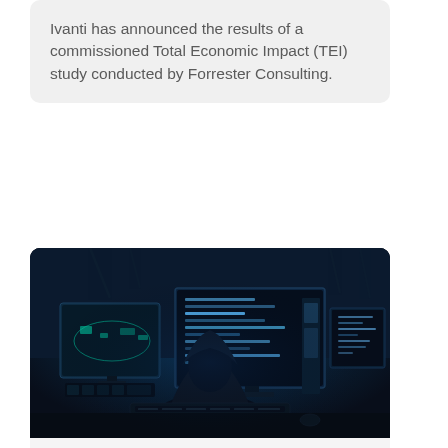Ivanti has announced the results of a commissioned Total Economic Impact (TEI) study conducted by Forrester Consulting.
[Figure (photo): A hooded figure sitting in a dark room in front of multiple computer monitors displaying code, lit with blue/teal lighting — a typical cybersecurity/hacker stock image.]
CYBERSECURITY
Claroty research unveils new attack that targets PLCs
Claroty has released research detailing a new type of cyber-attack,